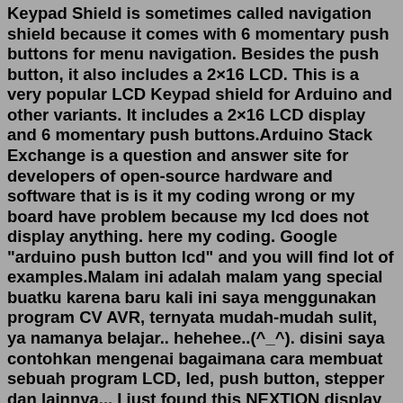Keypad Shield is sometimes called navigation shield because it comes with 6 momentary push buttons for menu navigation. Besides the push button, it also includes a 2×16 LCD. This is a very popular LCD Keypad shield for Arduino and other variants. It includes a 2×16 LCD display and 6 momentary push buttons.Arduino Stack Exchange is a question and answer site for developers of open-source hardware and software that is is it my coding wrong or my board have problem because my lcd does not display anything. here my coding. Google "arduino push button lcd" and you will find lot of examples.Malam ini adalah malam yang special buatku karena baru kali ini saya menggunakan program CV AVR, ternyata mudah-mudah sulit, ya namanya belajar.. hehehee..(^_^). disini saya contohkan mengenai bagaimana cara membuat sebuah program LCD, led, push button, stepper dan lainnya... I just found this NEXTION display on the internet and after a few tests, I've learned how to use it and in this tutorial I will show you how to do that as well with a few